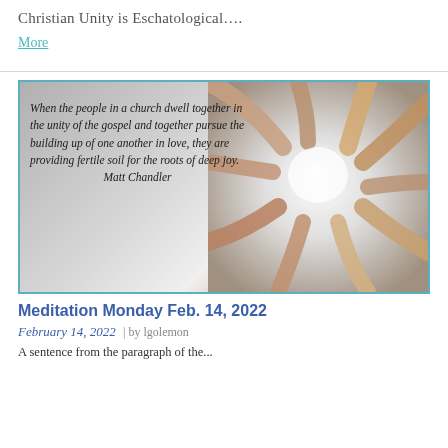Christian Unity is Eschatological….
More
[Figure (photo): A group of diverse hands forming a heart shape, accompanied by an italic quote: 'When the people in a church dwell together in the unity of the gospel and together pursue the building up of one another in love, they are providing fertile soil for the roots of deep joy. Matt Chandler']
Meditation Monday Feb. 14, 2022
February 14, 2022  |  by lgolemon
A sentence from the paragraph of the...